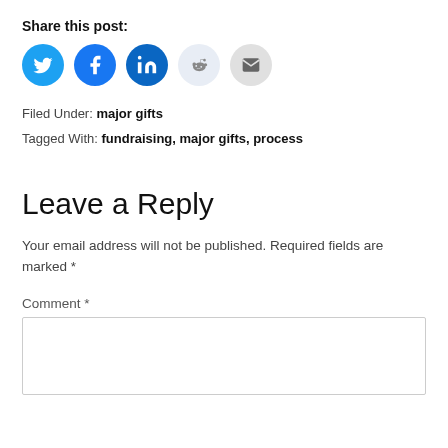Share this post:
[Figure (infographic): Row of 5 social sharing icon buttons: Twitter (blue bird), Facebook (blue f), LinkedIn (blue in), Reddit (light blue alien), Email (gray envelope)]
Filed Under: major gifts
Tagged With: fundraising, major gifts, process
Leave a Reply
Your email address will not be published. Required fields are marked *
Comment *